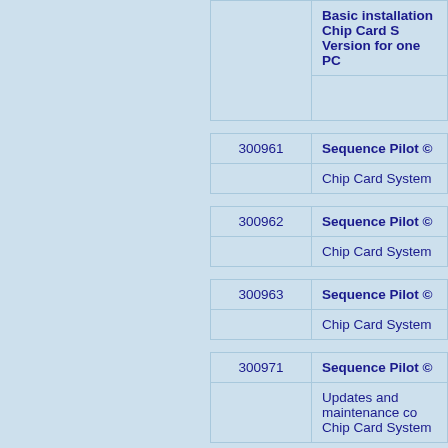| Order Number | Product | Description |
| --- | --- | --- |
|  |  | Basic installation Chip Card System Version for one PC |
| 300961 | Sequence Pilot © | Chip Card System |
| 300962 | Sequence Pilot © | Chip Card System |
| 300963 | Sequence Pilot © | Chip Card System |
| 300971 | Sequence Pilot © | Updates and maintenance contract Chip Card System |